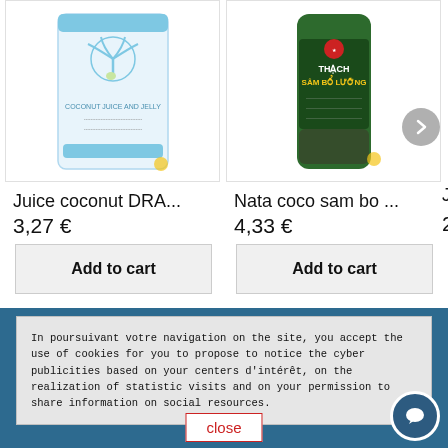[Figure (photo): Product image: Juice coconut DRA... package with palm tree design]
Juice coconut DRA...
3,27 €
Add to cart
[Figure (photo): Product image: Nata coco sam bo ... green bottle with Vietnamese text THẠCH SÂM BỔ LƯỠNG]
Nata coco sam bo ...
4,33 €
Add to cart
Jui...
2,13
In poursuivant votre navigation on the site, you accept the use of cookies for you to propose to notice the cyber publicities based on your centers d'intérêt, on the realization of statistic visits and on your permission to share information on social resources.
close